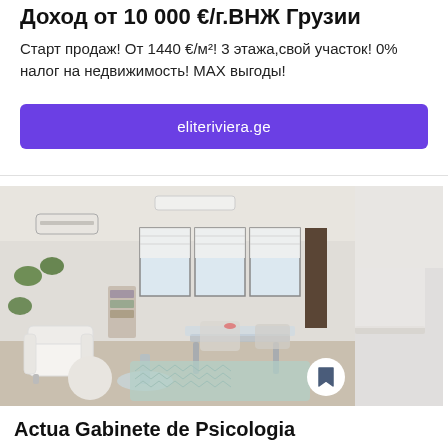Доход от 10 000 €/г.внж грузии
Старт продаж! От 1440 €/м²! 3 этажа,свой участок! 0% налог на недвижимость! МАХ выгоды!
eliteriviera.ge
[Figure (photo): Interior photo of a bright modern office/psychology office space with white furniture, arm chairs, a glass table, plants on the wall, and large windows. Partially visible second photo on the right showing a white table corner.]
Actua Gabinete de Psicologia
28220 Majadahonda, Av. de los Reyes Católicos, 4, 1ºB, Madrid